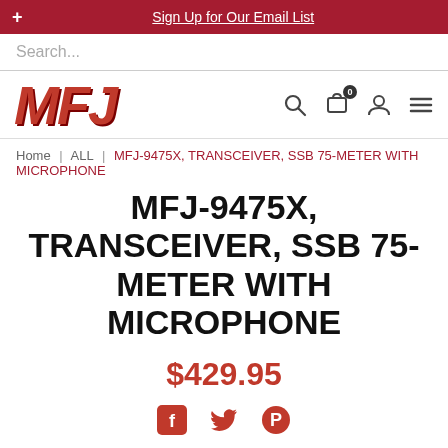+ Sign Up for Our Email List
Search...
[Figure (logo): MFJ logo in bold red italic letters]
Home | ALL | MFJ-9475X, TRANSCEIVER, SSB 75-METER WITH MICROPHONE
MFJ-9475X, TRANSCEIVER, SSB 75-METER WITH MICROPHONE
$429.95
[Figure (illustration): Social share icons: Facebook, Twitter, Pinterest]